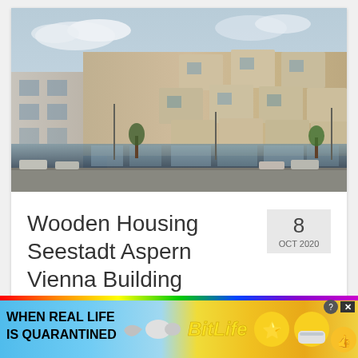[Figure (photo): Exterior photograph of the Wooden Housing Seestadt Aspern Vienna Building — a modern multi-story residential building with staggered cubic balconies in light wood/concrete tones, ground-floor glass commercial spaces, street-level view with parked cars and trees.]
Wooden Housing Seestadt Aspern Vienna Building
8 OCT 2020
by Adrian Walsh | posted in: Vienna, architecture, design, ...
[Figure (infographic): BitLife advertisement banner: rainbow stripe at top, 'WHEN REAL LIFE IS QUARANTINED' in bold black text, sperm emoji graphic, 'BitLife' in yellow bold italic text, emoji characters (star-eyes face, face with mask, thumbs up), close/X buttons in top right corner.]